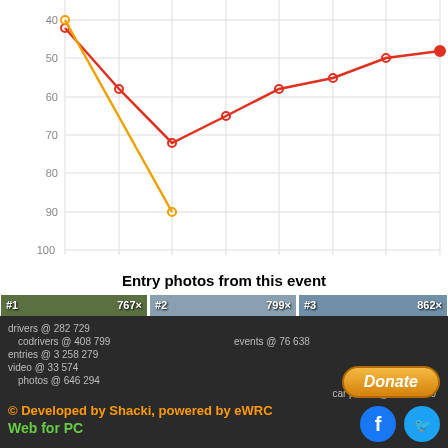[Figure (line-chart): ]
Entry photos from this event
[Figure (photo): Rally car #1 by Mrázek - Havel, 767 views]
[Figure (photo): Rally car #2 by Mrázek - Havel, 799 views]
[Figure (photo): Rally car #3 by Mrázek - Havel, 862 views]
[Figure (photo): Rally car #4 by Mrázek - Havel, 699 views]
drivers @ 282 729   codrivers @ 408 799   events @ 76 638   entries @ 3 258 279   video @ 33 574   photos @ 646 294   car plates @ 1 105 110   © Developed by Shacki, powered by eWRC   Web for PC